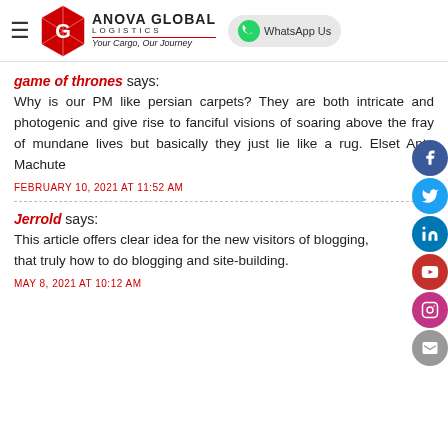ANOVA GLOBAL LOGISTICS — Your Cargo, Our Journey | WhatsApp Us
game of thrones says:
Why is our PM like persian carpets? They are both intricate and photogenic and give rise to fanciful visions of soaring above the fray of mundane lives but basically they just lie like a rug. Elset Anto Machute
FEBRUARY 10, 2021 AT 11:52 AM
Jerrold says:
This article offers clear idea for the new visitors of blogging,
that truly how to do blogging and site-building.
MAY 8, 2021 AT 10:12 AM